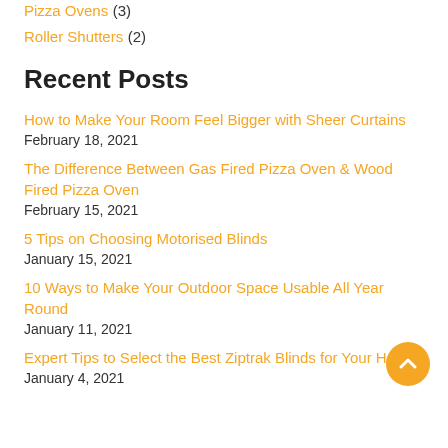Pizza Ovens (3)
Roller Shutters (2)
Recent Posts
How to Make Your Room Feel Bigger with Sheer Curtains
February 18, 2021
The Difference Between Gas Fired Pizza Oven & Wood Fired Pizza Oven
February 15, 2021
5 Tips on Choosing Motorised Blinds
January 15, 2021
10 Ways to Make Your Outdoor Space Usable All Year Round
January 11, 2021
Expert Tips to Select the Best Ziptrak Blinds for Your Home
January 4, 2021